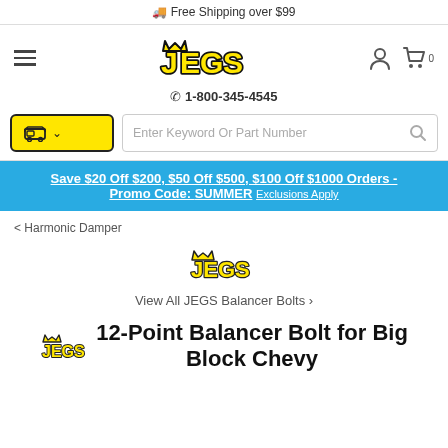🚚 Free Shipping over $99
[Figure (logo): JEGS logo with crown in black outlined text]
📞 1-800-345-4545
Save $20 Off $200, $50 Off $500, $100 Off $1000 Orders - Promo Code: SUMMER Exclusions Apply
< Harmonic Damper
[Figure (logo): JEGS logo small yellow with crown]
View All JEGS Balancer Bolts >
JEGS 12-Point Balancer Bolt for Big Block Chevy